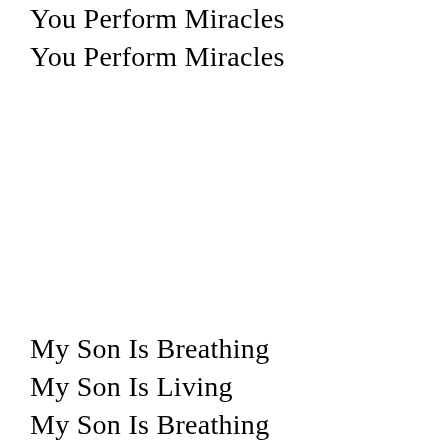You Perform Miracles
You Perform Miracles
My Son Is Breathing
My Son Is Living
My Son Is Breathing